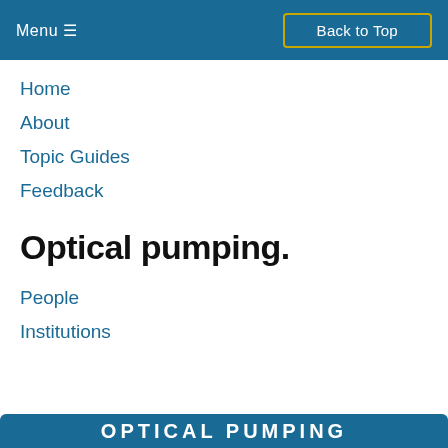Menu ≡   Back to Top
Home
About
Topic Guides
Feedback
Optical pumping.
People
Institutions
OPTICAL PUMPING